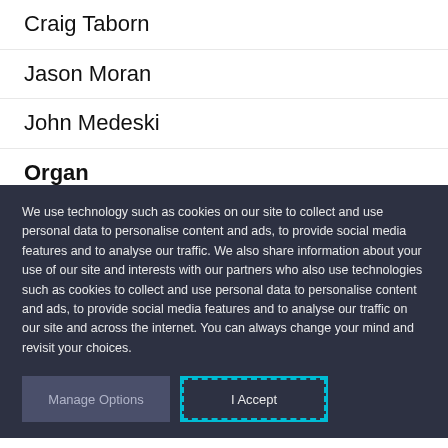Craig Taborn
Jason Moran
John Medeski
Organ
We use technology such as cookies on our site to collect and use personal data to personalise content and ads, to provide social media features and to analyse our traffic. We also share information about your use of our site and interests with our partners who also use technologies such as cookies to collect and use personal data to personalise content and ads, to provide social media features and to analyse our traffic on our site and across the internet. You can always change your mind and revisit your choices.
Manage Options
I Accept